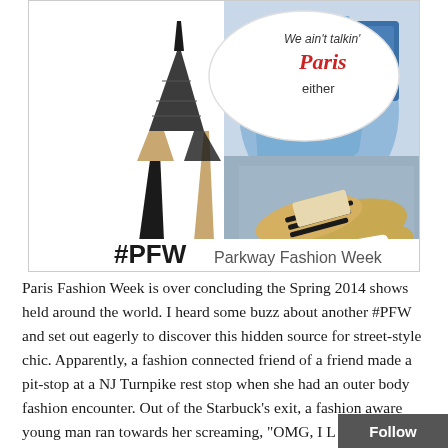[Figure (illustration): A graphic featuring the Eiffel Tower made of high-heeled shoes on the left, a NJ road map and sneaker on the right, a speech bubble saying 'We ain't talkin' Paris either', and the text '#PFW Parkway Fashion Week' at the bottom.]
Paris Fashion Week is over concluding the Spring 2014 shows held around the world. I heard some buzz about another #PFW and set out eagerly to discover this hidden source for street-style chic. Apparently, a fashion connected friend of a friend made a pit-stop at a NJ Turnpike rest stop when she had an outer body fashion encounter. Out of the Starbuck's exit, a fashion aware young man ran towards her screaming, "OMG, I L